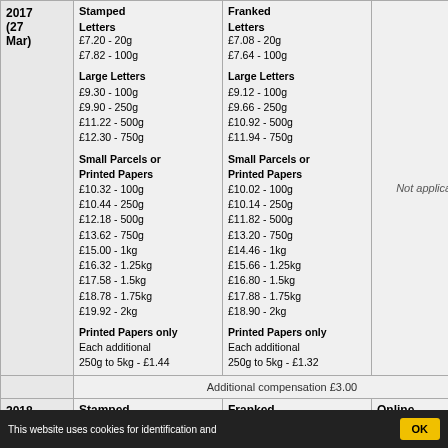| Year | Stamped | Franked | Online |
| --- | --- | --- | --- |
| 2017 (27 Mar) | Letters
£7.20 - 20g
£7.82 - 100g
Large Letters
£9.30 - 100g
£9.90 - 250g
£11.22 - 500g
£12.30 - 750g
Small Parcels or Printed Papers
£10.32 - 100g
£10.44 - 250g
£12.18 - 500g
£13.62 - 750g
£15.00 - 1kg
£16.32 - 1.25kg
£17.58 - 1.5kg
£18.78 - 1.75kg
£19.92 - 2kg
Printed Papers only
Each additional 250g to 5kg - £1.44 | Letters
£7.08 - 20g
£7.64 - 100g
Large Letters
£9.12 - 100g
£9.66 - 250g
£10.92 - 500g
£11.94 - 750g
Small Parcels or Printed Papers
£10.02 - 100g
£10.14 - 250g
£11.82 - 500g
£13.20 - 750g
£14.46 - 1kg
£15.66 - 1.25kg
£16.80 - 1.5kg
£17.88 - 1.75kg
£18.90 - 2kg
Printed Papers only
Each additional 250g to 5kg - £1.32 | Not applicable |
|  | Additional compensation £3.00 |  |  |
| 2018 (26 | Stamped | Franked | Online |